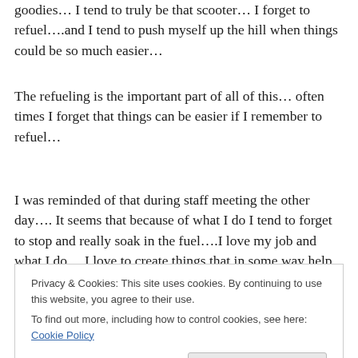goodies… I tend to truly be that scooter… I forget to refuel….and I tend to push myself up the hill when things could be so much easier…
The refueling is the important part of all of this… often times I forget that things can be easier if I remember to refuel…
I was reminded of that during staff meeting the other day…. It seems that because of what I do I tend to forget to stop and really soak in the fuel….I love my job and what I do… I love to create things that in some way help others
Privacy & Cookies: This site uses cookies. By continuing to use this website, you agree to their use.
To find out more, including how to control cookies, see here: Cookie Policy
Close and accept